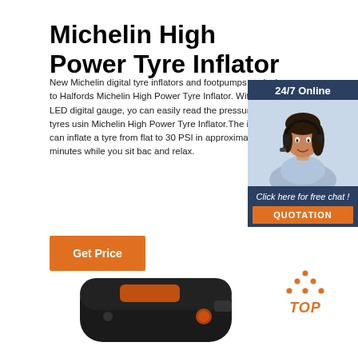Michelin High Power Tyre Inflator
New Michelin digital tyre inflators and footpumps exclusive to Halfords Michelin High Power Tyre Inflator. With a white LED digital gauge, you can easily read the pressure of your tyres using Michelin High Power Tyre Inflator.The imp motor can inflate a tyre from flat to 30 PSI in approximately 4 minutes while you sit back and relax.
[Figure (illustration): Customer service representative with headset, 24/7 Online chat widget with blue background, orange QUOTATION button]
[Figure (other): Get Price orange button]
[Figure (logo): TOP button with orange dotted triangle above the word TOP in orange italic text]
[Figure (photo): Michelin High Power Tyre Inflator product photo, black rounded rectangular device with orange accent]